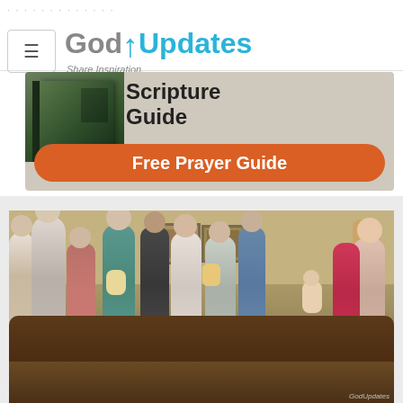[Figure (screenshot): GodUpdates website header with hamburger menu button on left and GodUpdates logo with 'Share Inspiration.' tagline on right]
[Figure (photo): Advertisement banner for a Scripture Guide with an orange rounded button labeled 'Free Prayer Guide']
[Figure (photo): Group of people standing in a living room, appearing to be singing or worshipping, with brown leather sofas visible in the foreground]